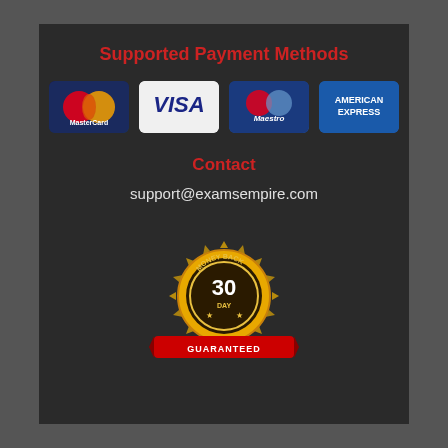Supported Payment Methods
[Figure (logo): Four payment method logos: MasterCard, VISA, Maestro, American Express]
Contact
support@examsempire.com
[Figure (illustration): 30 Day Money Back Guaranteed badge/seal in gold and red]